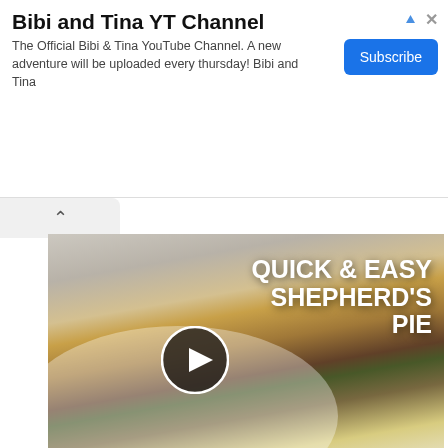Bibi and Tina YT Channel
The Official Bibi & Tina YouTube Channel. A new adventure will be uploaded every thursday! Bibi and Tina
[Figure (screenshot): Video thumbnail showing a slice of shepherd's pie on a white plate with text overlay 'QUICK & EASY SHEPHERD'S PIE' and a play button in the center]
This post may contain affiliate links. I may receive commissions for purchases made through links in this post.
This easy Shepherds pie is made with ground beef in a savory sauce, topped with a layer of vegetables, and then ...